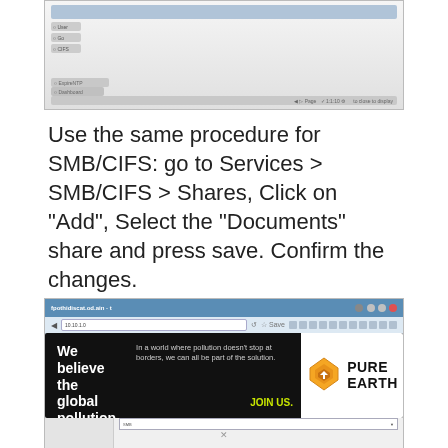[Figure (screenshot): Screenshot of a software interface showing radio buttons and a status bar at the bottom]
Use the same procedure for SMB/CIFS: go to Services > SMB/CIFS > Shares, Click on "Add", Select the "Documents" share and press save. Confirm the changes.
[Figure (screenshot): Screenshot of openmediavault web interface showing the SMB/CIFS Shares configuration panel with an Add Share dialog open]
[Figure (advertisement): Pure Earth advertisement banner: 'We believe the global pollution crisis can be solved. In a world where pollution doesn't stop at borders, we can all be part of the solution. JOIN US.' with Pure Earth logo.]